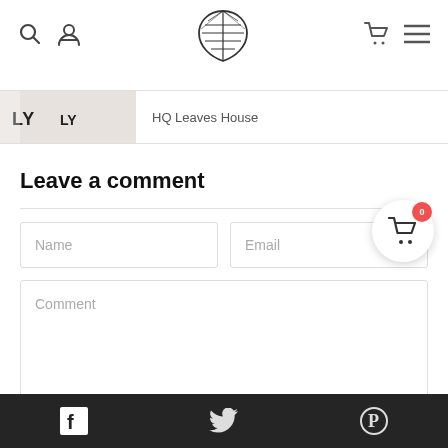[Figure (logo): Navigation bar with search icon, user icon, heart-leaf logo in center, cart icon, and hamburger menu icon]
HQ Leaves House
Leave a comment
[Figure (screenshot): Comment form with Name and Email input fields, and a Comment textarea]
Facebook, Twitter, Pinterest social icons